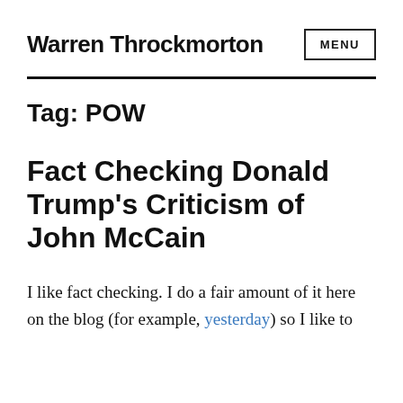Warren Throckmorton
Tag: POW
Fact Checking Donald Trump's Criticism of John McCain
I like fact checking. I do a fair amount of it here on the blog (for example, yesterday) so I like to